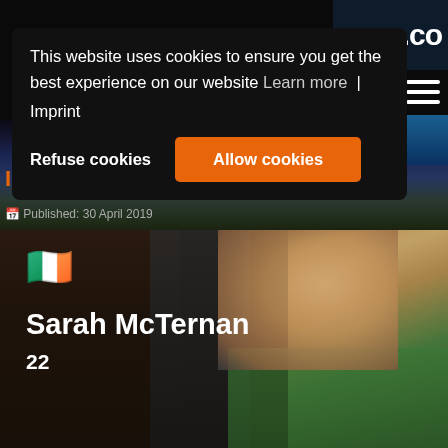This website uses cookies to ensure you get the best experience on our website Learn more | Imprint
Refuse cookies
Allow cookies
Introduction: Ireland 2019
Published: 30 April 2019
[Figure (photo): Photo of Sarah McTernan, a young blonde woman in a green floral dress, with an Irish flag emoji overlay and name/age text]
Sarah McTernan
22